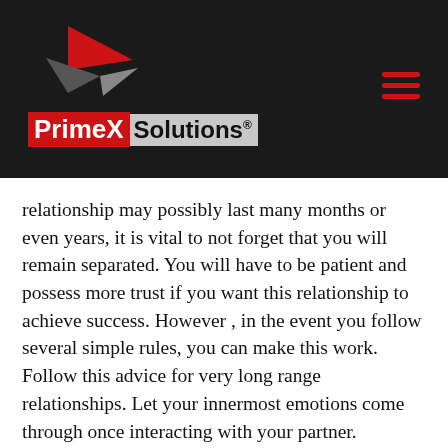[Figure (logo): PrimeX Solutions logo with red and grey arrow/star graphic above red and grey text banner on dark background]
relationship may possibly last many months or even years, it is vital to not forget that you will remain separated. You will have to be patient and possess more trust if you want this relationship to achieve success. However , in the event you follow several simple rules, you can make this work. Follow this advice for very long range relationships. Let your innermost emotions come through once interacting with your partner.
Be honest using your dates. If the partner is known as a stranger, it can be difficult to be honest with him/her. Don't be shy about writing your accurate feelings. Boost the comfort and be